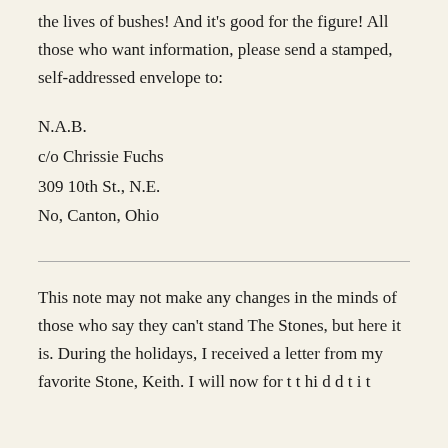the lives of bushes! And it's good for the figure! All those who want information, please send a stamped, self-addressed envelope to:
N.A.B.
c/o Chrissie Fuchs
309 10th St., N.E.
No, Canton, Ohio
This note may not make any changes in the minds of those who say they can't stand The Stones, but here it is. During the holidays, I received a letter from my favorite Stone, Keith. I will now for t t hi d d t i t